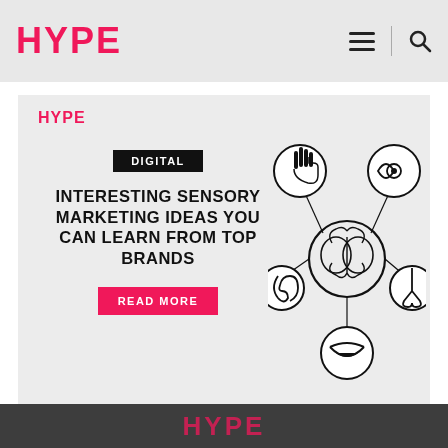HYPE
[Figure (infographic): Sensory marketing article card with HYPE logo, DIGITAL badge, headline 'INTERESTING SENSORY MARKETING IDEAS YOU CAN LEARN FROM TOP BRANDS', READ MORE button, and a sensory diagram showing a brain connected to icons for hand (touch), eye (sight), ear (hearing), nose (smell), and mouth (taste)]
Interesting Sensory Marketing Ideas You Can Learn from Top Brands
HYPE